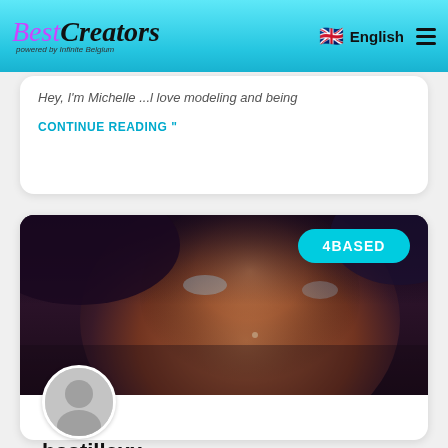BestCreators — English
Hey, I'm Michelle  ...l love modeling and being
CONTINUE READING "
[Figure (photo): Close-up photo of a person with light eyes, dark hair, and a nose piercing, lying down. Overlaid with a cyan '4BASED' badge in the upper right.]
bastillexx